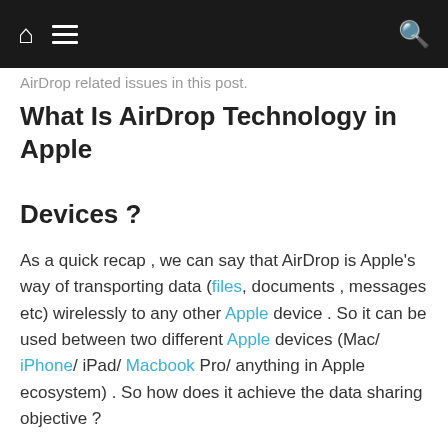AirDrop related issues in this post.
What Is AirDrop Technology in Apple Devices ?
As a quick recap , we can say that AirDrop is Apple's way of transporting data (files, documents , messages etc) wirelessly to any other Apple device . So it can be used between two different Apple devices (Mac/ iPhone/ iPad/ Macbook Pro/ anything in Apple ecosystem) . So how does it achieve the data sharing objective ?